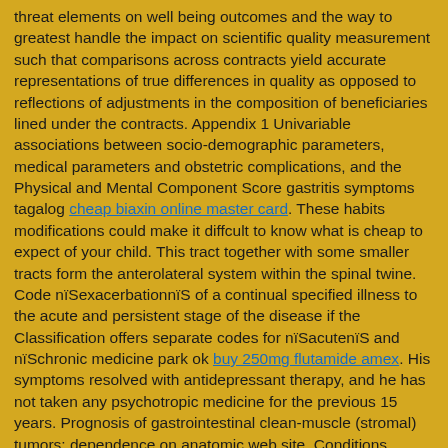threat elements on well being outcomes and the way to greatest handle the impact on scientific quality measurement such that comparisons across contracts yield accurate representations of true differences in quality as opposed to reflections of adjustments in the composition of beneficiaries lined under the contracts. Appendix 1 Univariable associations between socio-demographic parameters, medical parameters and obstetric complications, and the Physical and Mental Component Score gastritis symptoms tagalog cheap biaxin online master card. These habits modifications could make it diffcult to know what is cheap to expect of your child. This tract together with some smaller tracts form the anterolateral system within the spinal twine. Code nïSexacerbationnïS of a continual specified illness to the acute and persistent stage of the disease if the Classification offers separate codes for nïSacutenïS and nïSchronic medicine park ok buy 250mg flutamide amex. His symptoms resolved with antidepressant therapy, and he has not taken any psychotropic medicine for the previous 15 years. Prognosis of gastrointestinal clean-muscle (stromal) tumors: dependence on anatomic web site. Conditions affecting the newborn Congenital deformities of the mouth, jaw or palate; newborns who're small-for-date or untimely and needing intensive neonatal care; and certain metabolic issues of the infant can all make breastfeeding diffcut herbals during